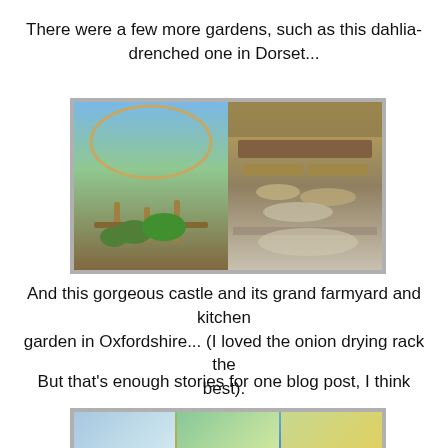There were a few more gardens, such as this dahlia-drenched one in Dorset...
[Figure (photo): Two side-by-side garden photos: left shows a garden with an arched bamboo trellis and plants under blue sky; right shows an indoor/covered area with onions and vegetables on wooden shelves/drying rack.]
And this gorgeous castle and its grand farmyard and kitchen garden in Oxfordshire... (I loved the onion drying rack the best).
But that's enough stories for one blog post, I think
[Figure (photo): A collage of multiple small photos showing various garden and interior scenes with blue and green color tones, pillows, fountains, and garden elements.]